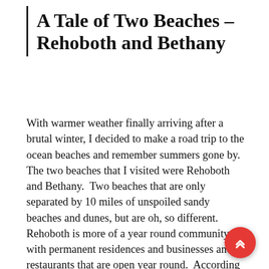A Tale of Two Beaches – Rehoboth and Bethany
With warmer weather finally arriving after a brutal winter, I decided to make a road trip to the ocean beaches and remember summers gone by.  The two beaches that I visited were Rehoboth and Bethany.  Two beaches that are only separated by 10 miles of unspoiled sandy beaches and dunes, but are oh, so different. Rehoboth is more of a year round community with permanent residences and businesses and restaurants that are open year round.  According to the 2010 census, the population of permanent residences is 1,327 but during the summer months can swell to over 25,000 within the city limits and thousands more in